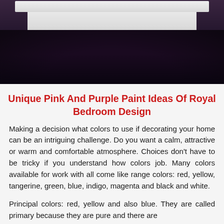[Figure (photo): Bedroom interior photo showing a white bed frame and dark purple/black shag rug]
Unique Pink And Purple Paint Ideas Of Royal Bedroom Design
Making a decision what colors to use if decorating your home can be an intriguing challenge. Do you want a calm, attractive or warm and comfortable atmosphere. Choices don't have to be tricky if you understand how colors job. Many colors available for work with all come like range colors: red, yellow, tangerine, green, blue, indigo, magenta and black and white.
Principal colors: red, yellow and also blue. They are called primary because they are pure and there are